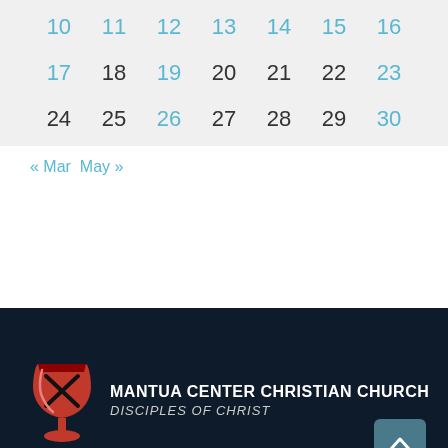| 10 | 11 | 12 | 13 | 14 | 15 | 16 |
| 17 | 18 | 19 | 20 | 21 | 22 | 23 |
| 24 | 25 | 26 | 27 | 28 | 29 | 30 |
« Mar  May »
[Figure (logo): Mantua Center Christian Church logo with a red chalice/goblet icon and text reading MANTUA CENTER CHRISTIAN CHURCH / DISCIPLES OF CHRIST on a dark navy background]